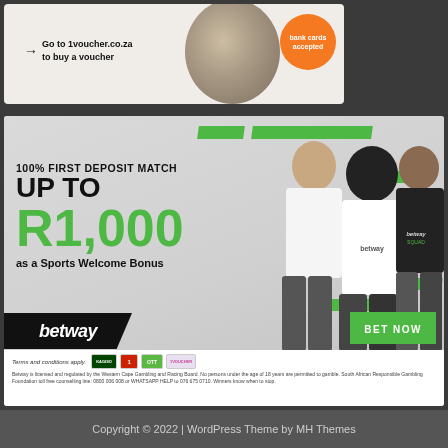[Figure (illustration): Top advertisement banner with orange badge saying 'bank cards accepted', arrow pointing right with text 'Go to 1voucher.co.za to buy a voucher', coin/medallion graphic on right side]
[Figure (illustration): Betway sports betting advertisement. Shows three people (two men, one woman) wearing Betway branded clothing. Green decorative rectangles. Text: '100% FIRST DEPOSIT MATCH UP TO R1,000 as a Sports Welcome Bonus'. Betway logo in black trapezoid. Green 'BET NOW' button. Footer with payment logos (Kagiso, 1, OTT, 1Voucher) and legal text about Western Cape Gambling and Racing Board licensing.]
Go to 1voucher.co.za to buy a voucher
bank cards accepted
100% FIRST DEPOSIT MATCH
UP TO
R1,000
as a Sports Welcome Bonus
betway
BET NOW
Terms and conditions apply.
Betway is licensed and regulated by the Western Cape Gambling and Racing Board. No persons under the age of 18 years are permitted to gamble. South African Responsible Gambling Foundation toll free counselling line: 0800 006 008 or WHATSAPP HELP to 076 675 0710. Winners know when to stop.
Copyright © 2022 | WordPress Theme by MH Themes